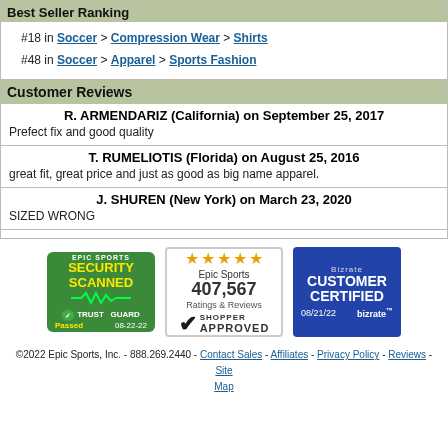Best Seller Ranking
#18 in Soccer > Compression Wear > Shirts
#48 in Soccer > Apparel > Sports Fashion
Customer Reviews
R. ARMENDARIZ (California) on September 25, 2017
Prefect fix and good quality
T. RUMELIOTIS (Florida) on August 25, 2016
great fit, great price and just as good as big name apparel.
J. SHUREN (New York) on March 23, 2020
SIZED WRONG
[Figure (logo): Epic Sports Security Scanned Trust Guard Passed 08-22-22 badge]
[Figure (logo): Shopper Approved badge with 5 stars, Epic Sports 407,567 Ratings & Reviews]
[Figure (logo): Bizrate Customer Certified badge 08/21/22]
©2022 Epic Sports, Inc. - 888.269.2440 - Contact Sales - Affiliates - Privacy Policy - Reviews - Site Map